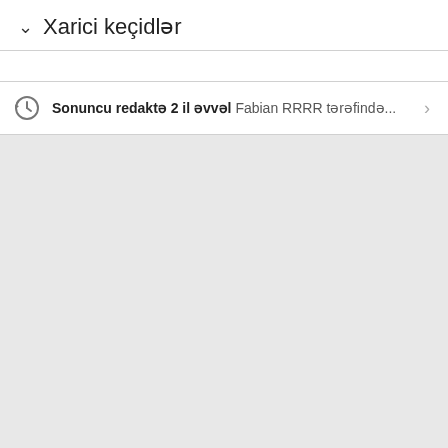Xarici keçidlər
Sonuncu redaktə 2 il əvvəl Fabian RRRR tərəfində...